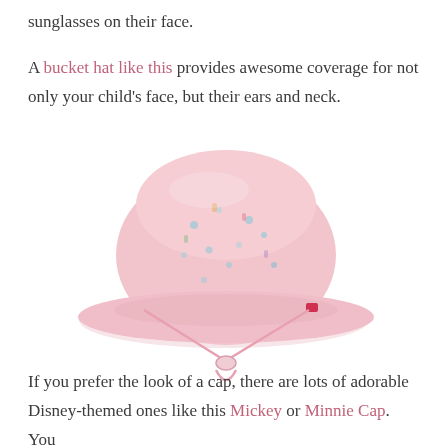sunglasses on their face.
A bucket hat like this provides awesome coverage for not only your child's face, but their ears and neck.
[Figure (photo): A pink children's bucket hat with seahorse pattern and chin strap cord, shown on white background.]
If you prefer the look of a cap, there are lots of adorable Disney-themed ones like this Mickey or Minnie Cap. You